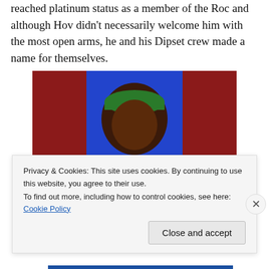reached platinum status as a member of the Roc and although Hov didn't necessarily welcome him with the most open arms, he and his Dipset crew made a name for themselves.
[Figure (photo): A man wearing a green cap and white jersey laughing and pointing, with text at the bottom reading 'YOUUUUUUD' or similar in large block letters, in front of a blue and red background.]
Privacy & Cookies: This site uses cookies. By continuing to use this website, you agree to their use.
To find out more, including how to control cookies, see here: Cookie Policy